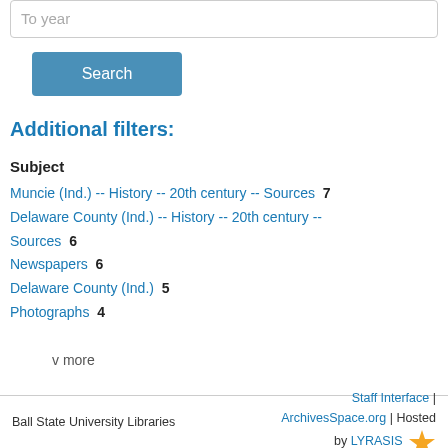To year
Search
Additional filters:
Subject
Muncie (Ind.) -- History -- 20th century -- Sources  7
Delaware County (Ind.) -- History -- 20th century -- Sources  6
Newspapers  6
Delaware County (Ind.)  5
Photographs  4
v more
Ball State University Libraries  Staff Interface | ArchivesSpace.org | Hosted by LYRASIS